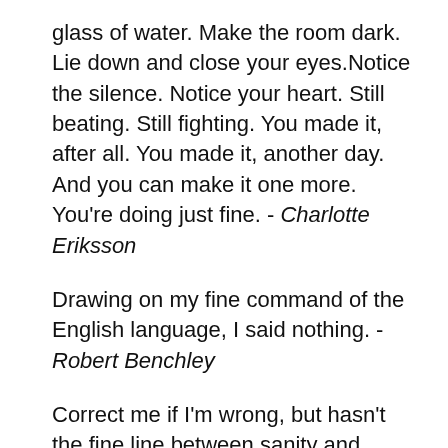glass of water. Make the room dark. Lie down and close your eyes.Notice the silence. Notice your heart. Still beating. Still fighting. You made it, after all. You made it, another day. And you can make it one more. You're doing just fine. - Charlotte Eriksson
Drawing on my fine command of the English language, I said nothing. - Robert Benchley
Correct me if I'm wrong, but hasn't the fine line between sanity and madness gotten finer? - George Price
Speech is for the convenience of those